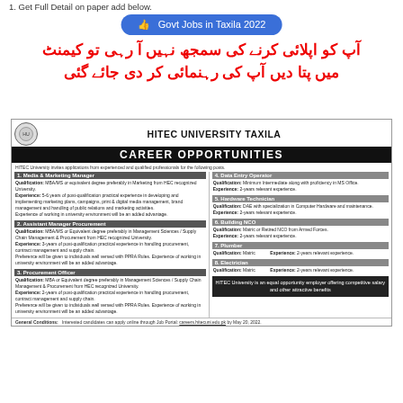1. Get Full Detail on paper add below.
👍  Govt Jobs in Taxila 2022
آپ کو اپلائی کرنے کی سمجھ نہیں آ رہی تو کیمنٹ میں پتا دیں آپ کی رہنمائی کر دی جائے گئی
[Figure (infographic): HITEC University Taxila Career Opportunities job advertisement showing 8 positions including Media & Marketing Manager, Assistant Manager Procurement, Procurement Officer, Data Entry Operator, Hardware Technician, Building NCO, Plumber, and Electrician with their qualifications and experience requirements.]